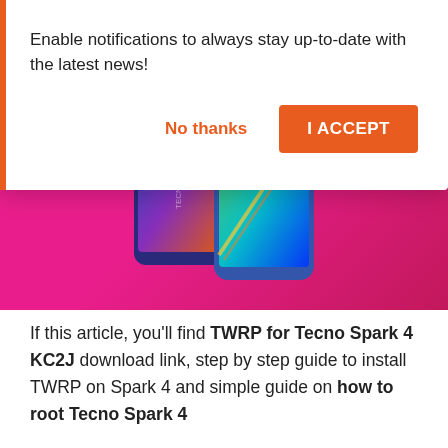[Figure (screenshot): A notification permission popup overlaid on a webpage about TWRP Recovery Project for Tecno Spark 4 KC2J, with a pink/magenta banner showing two Tecno smartphones. The popup reads 'Enable notifications to always stay up-to-date with the latest news!' with 'No thanks' and 'I ACCEPT' buttons.]
Enable notifications to always stay up-to-date with the latest news!
If this article, you'll find TWRP for Tecno Spark 4 KC2J download link, step by step guide to install TWRP on Spark 4 and simple guide on how to root Tecno Spark 4